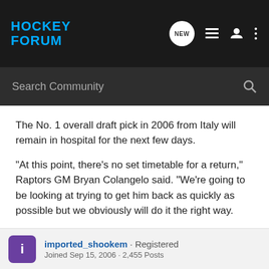HOCKEY FORUM
The No. 1 overall draft pick in 2006 from Italy will remain in hospital for the next few days.
"At this point, there's no set timetable for a return," Raptors GM Bryan Colangelo said. "We're going to be looking at trying to get him back as quickly as possible but we obviously will do it the right way.
FULL STORY
imported_shookem · Registered
Joined Sep 15, 2006 · 2,455 Posts